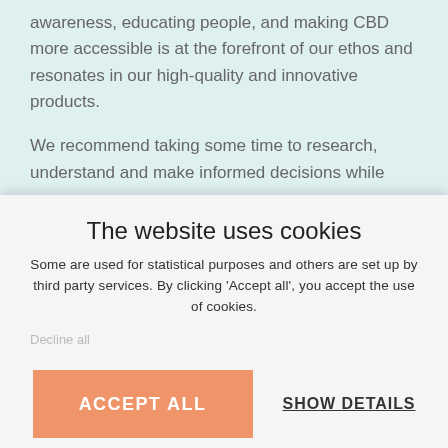awareness, educating people, and making CBD more accessible is at the forefront of our ethos and resonates in our high-quality and innovative products.
We recommend taking some time to research, understand and make informed decisions while
The website uses cookies
Some are used for statistical purposes and others are set up by third party services. By clicking ‘Accept all’, you accept the use of cookies.
Decline all
ACCEPT ALL
SHOW DETAILS